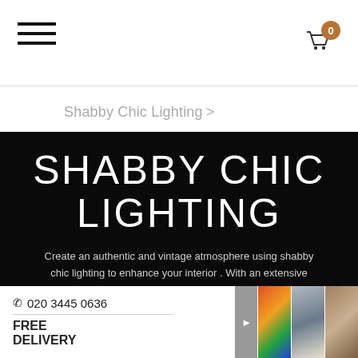Navigation header with hamburger menu and cart icon showing 0 items
Shabby Chic Lighting >
[Figure (screenshot): Dark hero banner with large white thin-font text reading SHABBY CHIC LIGHTING and a descriptive paragraph below with a read more link]
Create an authentic and vintage atmosphere using shabby chic lighting to enhance your interior . With an extensive range that adapts to the simplest or most elaborate decorations. read more >
020 3445 0636
FREE DELIVERY
[Figure (photo): Three thumbnail photos in a horizontal strip showing colorful artwork, a floor lamp, and a interior room scene]